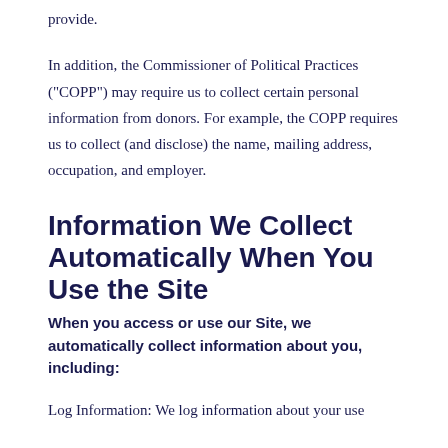provide.
In addition, the Commissioner of Political Practices ("COPP") may require us to collect certain personal information from donors. For example, the COPP requires us to collect (and disclose) the name, mailing address, occupation, and employer.
Information We Collect Automatically When You Use the Site
When you access or use our Site, we automatically collect information about you, including:
Log Information: We log information about your use